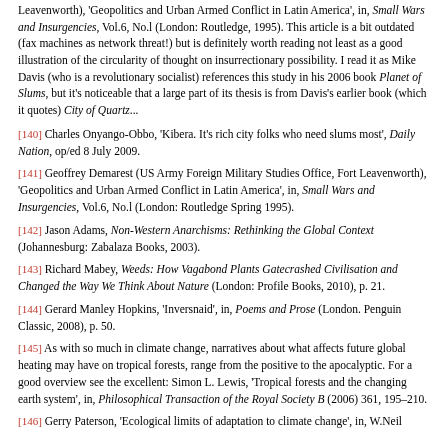Leavenworth), 'Geopolitics and Urban Armed Conflict in Latin America', in, Small Wars and Insurgencies, Vol.6, No.l (London: Routledge, 1995). This article is a bit outdated (fax machines as network threat!) but is definitely worth reading not least as a good illustration of the circularity of thought on insurrectionary possibility. I read it as Mike Davis (who is a revolutionary socialist) references this study in his 2006 book Planet of Slums, but it's noticeable that a large part of its thesis is from Davis's earlier book (which it quotes) City of Quartz...
[140] Charles Onyango-Obbo, 'Kibera. It's rich city folks who need slums most', Daily Nation, op/ed 8 July 2009.
[141] Geoffrey Demarest (US Army Foreign Military Studies Office, Fort Leavenworth), 'Geopolitics and Urban Armed Conflict in Latin America', in, Small Wars and Insurgencies, Vol.6, No.l (London: Routledge Spring 1995).
[142] Jason Adams, Non-Western Anarchisms: Rethinking the Global Context (Johannesburg: Zabalaza Books, 2003).
[143] Richard Mabey, Weeds: How Vagabond Plants Gatecrashed Civilisation and Changed the Way We Think About Nature (London: Profile Books, 2010), p. 21.
[144] Gerard Manley Hopkins, 'Inversnaid', in, Poems and Prose (London. Penguin Classic, 2008), p. 50.
[145] As with so much in climate change, narratives about what affects future global heating may have on tropical forests, range from the positive to the apocalyptic. For a good overview see the excellent: Simon L. Lewis, 'Tropical forests and the changing earth system', in, Philosophical Transaction of the Royal Society B (2006) 361, 195–210.
[146] Gerry Paterson, 'Ecological limits of adaptation to climate change', in, W.Neil...